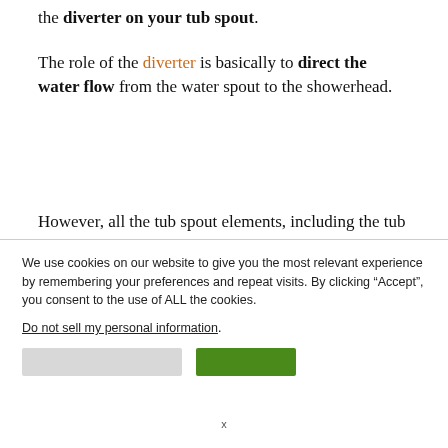the diverter on your tub spout.
The role of the diverter is basically to direct the water flow from the water spout to the showerhead.
However, all the tub spout elements, including the tub
We use cookies on our website to give you the most relevant experience by remembering your preferences and repeat visits. By clicking “Accept”, you consent to the use of ALL the cookies.
Do not sell my personal information.
x